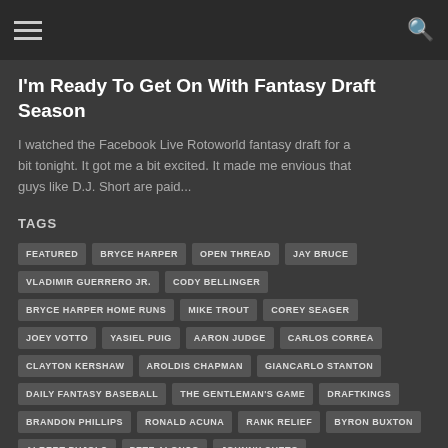Navigation header with hamburger menu and search icon
I'm Ready To Get On With Fantasy Draft Season
I watched the Facebook Live Rotoworld fantasy draft for a bit tonight. It got me a bit excited. It made me envious that guys like D.J. Short are paid...
TAGS
FEATURED
BRYCE HARPER
OPEN THREAD
JAY BRUCE
VLADIMIR GUERRERO JR.
CODY BELLINGER
BRYCE HARPER HOME RUNS
MIKE TROUT
COREY SEAGER
JOEY VOTTO
YASIEL PUIG
AARON JUDGE
CARLOS CORREA
CLAYTON KERSHAW
AROLDIS CHAPMAN
GIANCARLO STANTON
DAILY FANTASY BASEBALL
THE GENTLEMAN'S GAME
DRAFTKINGS
BRANDON PHILLIPS
RONALD ACUNA
RANK RELIEF
BYRON BUXTON
ALBERT PUJOLS
PETE ALONSO
JOHNNY CUETO
ANDREW MCCUTCHEN
KENLEY JANSEN
HOMER BAILEY